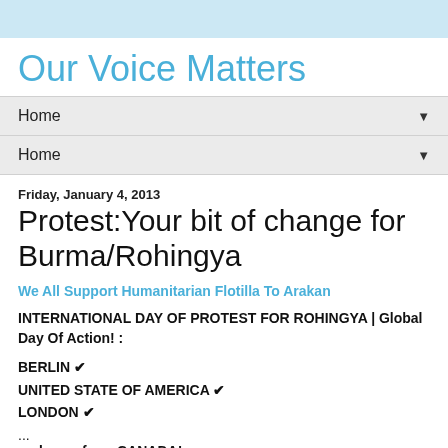Our Voice Matters
Home ▼
Home ▼
Friday, January 4, 2013
Protest:Your bit of change for Burma/Rohingya
We All Support Humanitarian Flotilla To Arakan
INTERNATIONAL DAY OF PROTEST FOR ROHINGYA | Global Day Of Action! :
BERLIN ✔
UNITED STATE OF AMERICA ✔
LONDON ✔
...
and now, from CANADA!